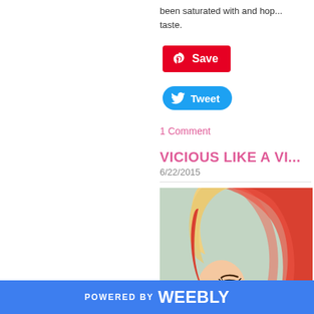been saturated with and hop... taste.
[Figure (other): Pinterest Save button - red rounded rectangle with Pinterest logo and Save text]
[Figure (other): Twitter Tweet button - blue pill-shaped button with Twitter bird logo and Tweet text]
1 Comment
VICIOUS LIKE A VI...
6/22/2015
[Figure (photo): Woman with long red hair styled in a high ponytail with blonde section, wearing dramatic eye makeup, looking to the side. Green/teal background.]
POWERED BY weebly